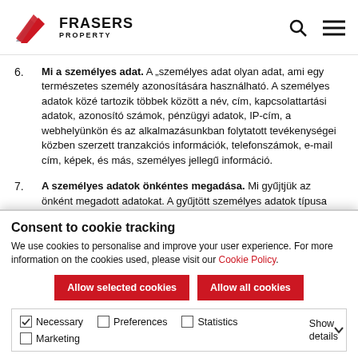Frasers Property
6. Mi a személyes adat. A „személyes adat olyan adat, ami egy természetes személy azonosítására használható. A személyes adatok közé tartozik többek között a név, cím, kapcsolattartási adatok, azonosító számok, pénzügyi adatok, IP-cím, a webhelyünkön és az alkalmazásunkban folytatott tevékenységei közben szerzett tranzakciós információk, telefonszámok, e-mail cím, képek, és más, személyes jellegű információ.
7. A személyes adatok önkéntes megadása. Mi gyűjtjük az önként megadott adatokat. A gyűjtött személyes adatok típusa függ a személyes adatok
Consent to cookie tracking
We use cookies to personalise and improve your user experience. For more information on the cookies used, please visit our Cookie Policy.
Allow selected cookies  Allow all cookies
Necessary  Preferences  Statistics  Marketing  Show details